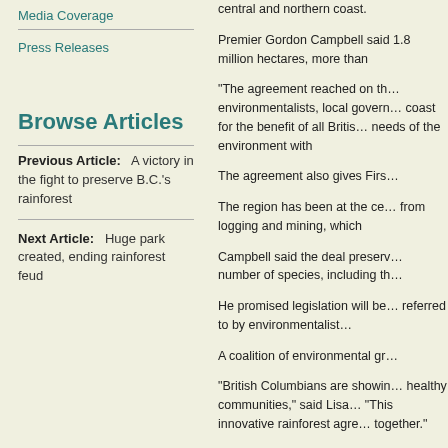Media Coverage
Press Releases
Browse Articles
Previous Article:   A victory in the fight to preserve B.C.'s rainforest
Next Article:   Huge park created, ending rainforest feud
central and northern coast.
Premier Gordon Campbell said 1.8 million hectares, more than
“The agreement reached on th… environmentalists, local govern… coast for the benefit of all Britis… needs of the environment with
The agreement also gives Firs…
The region has been at the ce… from logging and mining, which
Campbell said the deal preserv… number of species, including th…
He promised legislation will be… referred to by environmentalist…
A coalition of environmental gr…
“British Columbians are showin… healthy communities,” said Lisa… “This innovative rainforest agre… together.”
The region is home to hundred… mountain goats, moose and d…